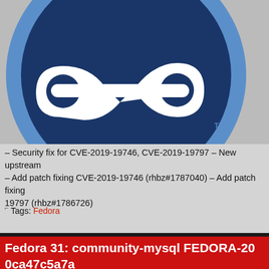[Figure (logo): Fedora Linux logo - white infinity/f symbol on dark blue circular background with light blue outer circle, trademark symbol]
– Security fix for CVE-2019-19746, CVE-2019-19797 – New upstream – Add patch fixing CVE-2019-19746 (rhbz#1787040) – Add patch fixing 19797 (rhbz#1786726)
Tags: Fedora
Fedora 31: community-mysql FEDORA-20 0ca47c5a7a
By Ike on January 25, 2020 at 2:10 am
Posted In: Fedora
[Figure (logo): Fedora logo partial, bottom of page]